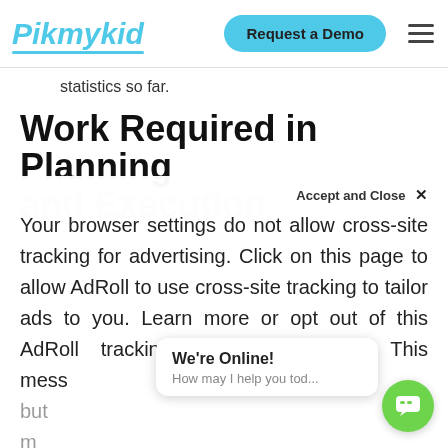Pikmykid | Request a Demo
statistics so far.
Work Required in Planning and Execution
Your browser settings do not allow cross-site tracking for advertising. Click on this page to allow AdRoll to use cross-site tracking to tailor ads to you. Learn more or opt out of this AdRoll tracking by clicking here. This mess... e. but not m...
Accept and Close ×
We're Online! How may I help you tod...